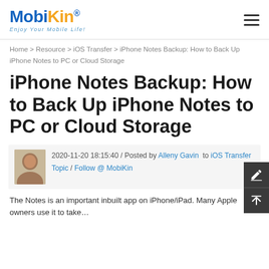MobiKin® — Enjoy Your Mobile Life!
Home > Resource > iOS Transfer > iPhone Notes Backup: How to Back Up iPhone Notes to PC or Cloud Storage
iPhone Notes Backup: How to Back Up iPhone Notes to PC or Cloud Storage
2020-11-20 18:15:40 / Posted by Alleny Gavin to iOS Transfer Topic / Follow @ MobiKin
The Notes is an important inbuilt app on iPhone/iPad. Many Apple owners use it to take…